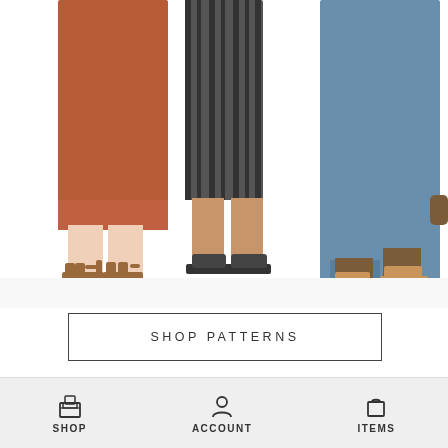[Figure (photo): Three women standing side by side showing lower bodies and feet wearing sandals: left woman in orange/rust skirt, center woman in black striped shorts, right woman in blue dress. All wearing different styles of flat sandals on a white background.]
SHOP PATTERNS
FOLLOW US ON BLOGLOVIN'
Follow
CATEGORIES
SHOP   ACCOUNT   ITEMS